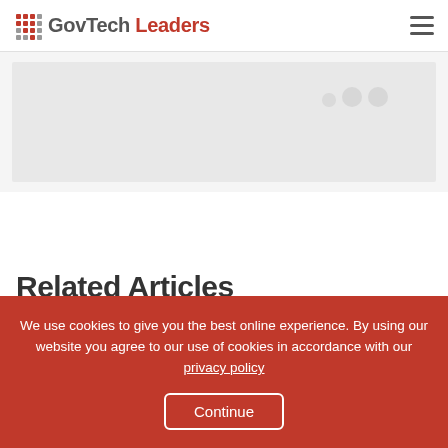GovTech Leaders
[Figure (photo): Partially visible hero image placeholder with grey background and light dots]
Related Articles
[Figure (photo): Partial article thumbnail image at bottom of page]
We use cookies to give you the best online experience. By using our website you agree to our use of cookies in accordance with our privacy policy